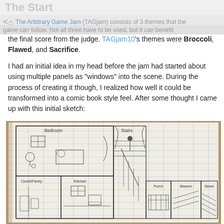The Start
< 🏠 The Arbitrary Game Jam (TAGjam) consists of 3 themes that the game can follow.
The Arbitrary Game Jam (TAGjam) consists of 3 themes that the game can follow. Not all three have to be used, but it can benefit the final score from the judge. TAGjam10's themes were Broccoli, Flawed, and Sacrifice.
I had an initial idea in my head before the jam had started about using multiple panels as "windows" into the scene. During the process of creating it though, I realized how well it could be transformed into a comic book style feel. After some thought I came up with this initial sketch:
[Figure (photo): A hand-drawn pencil sketch on lined notebook paper showing a comic-book style layout of multiple room panels. Panels include: Bedroom (with window, furniture, lamp), Closet/Pantry, Kitchen (with window and appliances), Stairs, Porch, Bedroom/Room, and Street. The sketch depicts a house layout divided into comic-book style panels.]